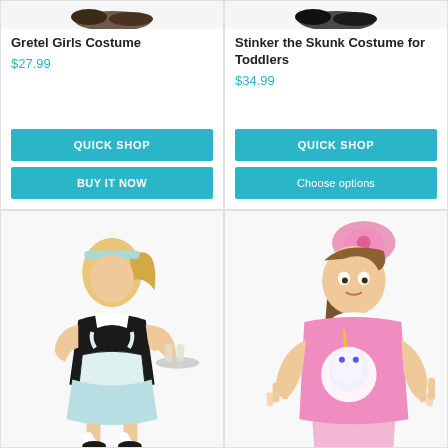[Figure (photo): Gretel Girls Costume product card with shoe image at top, product name, price, Quick Shop and Buy It Now buttons]
Gretel Girls Costume
$27.99
[Figure (photo): Stinker the Skunk Costume for Toddlers product card with shoe image at top, product name, price, Quick Shop and Choose options buttons]
Stinker the Skunk Costume for Toddlers
$34.99
[Figure (photo): Girl wearing a diner waitress costume with light blue dress and white apron, holding a serving tray]
[Figure (photo): Girl wearing a pink unicorn t-shirt with a large pink bow in her hair and colorful hair clips, making peace signs]